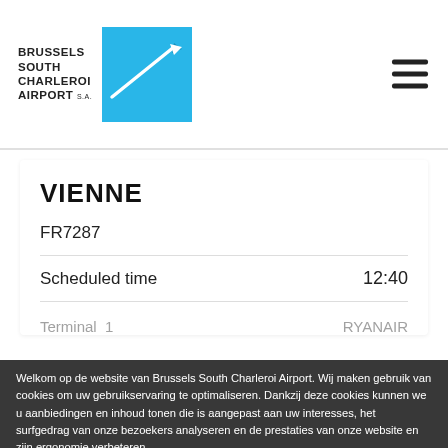[Figure (logo): Brussels South Charleroi Airport logo with blue square graphic and text]
VIENNE
FR7287
Scheduled time 12:40
Terminal 1 RYANAIR
Welkom op de website van Brussels South Charleroi Airport. Wij maken gebruik van cookies om uw gebruikservaring te optimaliseren. Dankzij deze cookies kunnen we u aanbiedingen en inhoud tonen die is aangepast aan uw interesses, het surfgedrag van onze bezoekers analyseren en de prestaties van onze website en zijn ergonomie verbeteren.
PESCARA
Selectie toestaan
Alle cookies toestaan
Noodzakelijk Voorkeuren Statistieken Marketing Details tonen